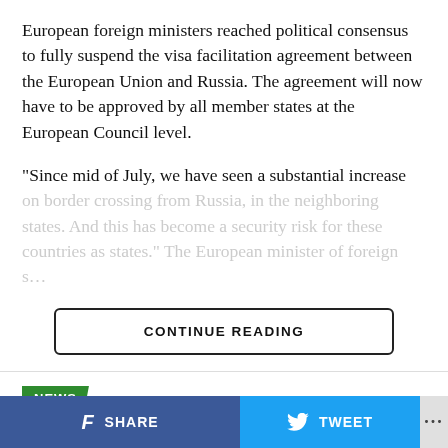European foreign ministers reached political consensus to fully suspend the visa facilitation agreement between the European Union and Russia. The agreement will now have to be approved by all member states at the European Council level.
“Since mid of July, we have seen a substantial increase on border crossing from Russia, in the neighboring states. And this has become a security risk for these countries as states.” The European minister of foreign [continued]
CONTINUE READING
NEWS
Kylian Mbappe ‘observing Paul
SHARE   TWEET   ...